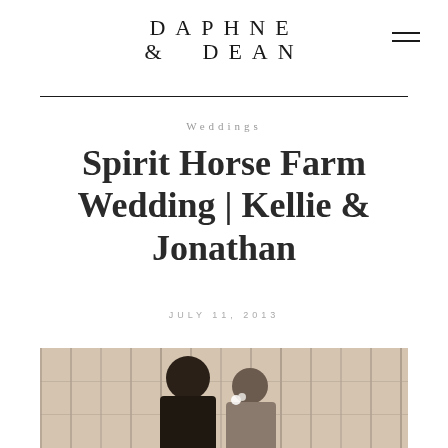DAPHNE & DEAN
Weddings
Spirit Horse Farm Wedding | Kellie & Jonathan
JULY 11, 2013
[Figure (photo): A couple photographed at a barn venue, bride leaning in toward groom, wooden plank wall visible in background]